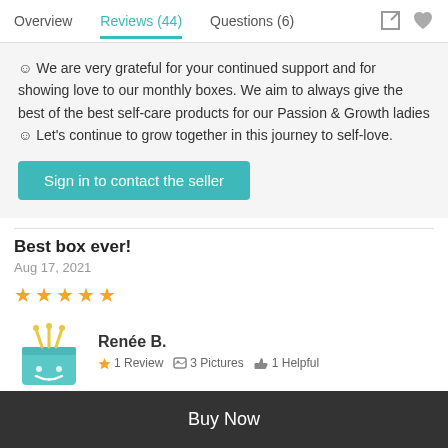Overview  Reviews (44)  Questions (6)
☺ We are very grateful for your continued support and for showing love to our monthly boxes. We aim to always give the best of the best self-care products for our Passion & Growth ladies ☺ Let's continue to grow together in this journey to self-love.
Sign in to contact the seller
Best box ever!
Aug 17, 2021
★★★★★
Renée B.  ★ 1 Review  3 Pictures  1 Helpful
Buy Now